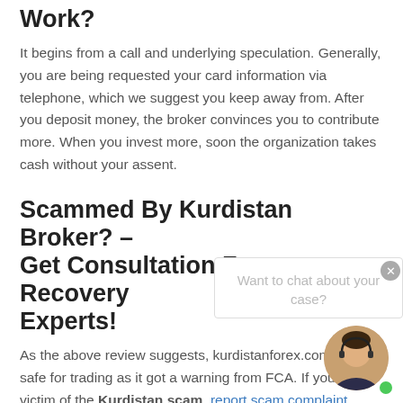Work?
It begins from a call and underlying speculation. Generally, you are being requested your card information via telephone, which we suggest you keep away from. After you deposit money, the broker convinces you to contribute more. When you invest more, soon the organization takes cash without your assent.
Scammed By Kurdistan Broker? – Get Consultation From Recovery Experts!
As the above review suggests, kurdistanforex.com is not safe for trading as it got a warning from FCA. If you are a victim of the Kurdistan scam, report scam complaint against Kurdistan. Always remember that you are not the only who got scammed by such a fraud broker. Contact our recovery specialists and see the most effective way to get